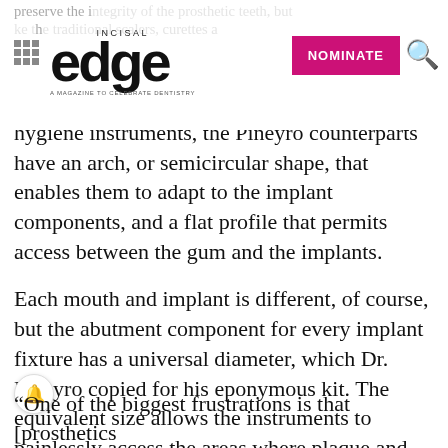preserve the integrity of the prosthetic teeth, but like the traditional scalers, curettes and hygiene instruments, the Piñeyro counterparts
[Figure (logo): Incisal Edge magazine logo with grid icon, NOMINATE button in magenta, and search icon]
hygiene instruments, the Piñeyro counterparts have an arch, or semicircular shape, that enables them to adapt to the implant components, and a flat profile that permits access between the gum and the implants.
Each mouth and implant is different, of course, but the abutment component for every implant fixture has a universal diameter, which Dr. Piñeyro copied for his eponymous kit. The equivalent size allows the instruments to painlessly access the areas where plaque and other buildup occur.
“One of the biggest frustrations is that [prosthetics